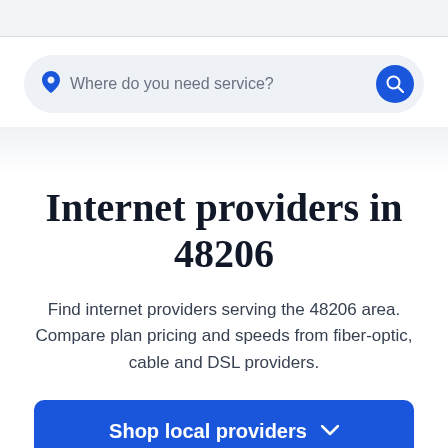[Figure (screenshot): Search bar with location pin icon and blue search button, placeholder text: Where do you need service?]
Internet providers in 48206
Find internet providers serving the 48206 area. Compare plan pricing and speeds from fiber-optic, cable and DSL providers.
Shop local providers